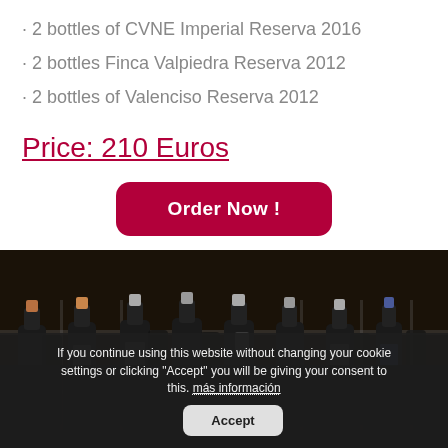· 2 bottles of CVNE Imperial Reserva 2016
· 2 bottles Finca Valpiedra Reserva 2012
· 2 bottles of Valenciso Reserva 2012
Price: 210 Euros
[Figure (photo): Wine bottles displayed in a wine rack/cellar, dark background with multiple bottle shapes visible]
If you continue using this website without changing your cookie settings or clicking "Accept" you will be giving your consent to this. más información  Accept